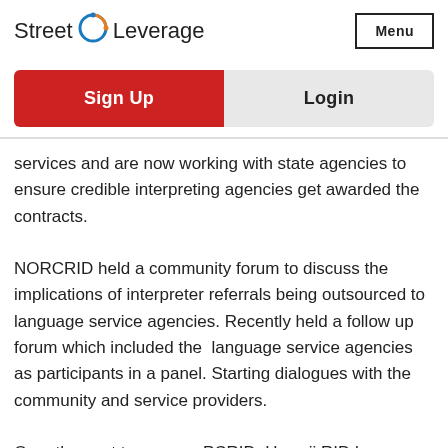Street Leverage | Menu
Sign Up
Login
services and are now working with state agencies to ensure credible interpreting agencies get awarded the contracts.
NORCRID held a community forum to discuss the implications of interpreter referrals being outsourced to language service agencies. Recently held a follow up forum which included the  language service agencies as participants in a panel. Starting dialogues with the community and service providers.
Over the past two years, PCRID, Hawaii RID has hosted